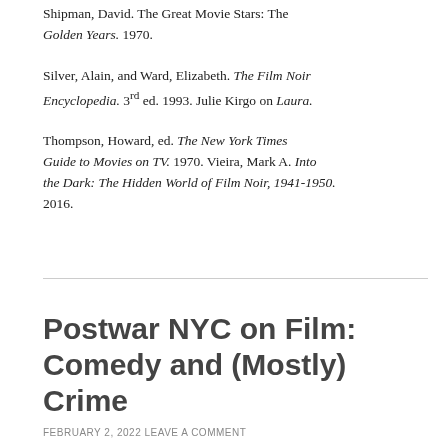Shipman, David.  The Great Movie Stars: The Golden Years.  1970.
Silver, Alain, and Ward, Elizabeth.  The Film Noir Encyclopedia.  3rd ed.  1993.  Julie Kirgo on Laura.
Thompson, Howard, ed.  The New York Times Guide to Movies on TV.  1970. Vieira, Mark A.  Into the Dark:  The Hidden World of Film Noir, 1941-1950.  2016.
Postwar NYC on Film: Comedy and (Mostly) Crime
FEBRUARY 2, 2022  LEAVE A COMMENT